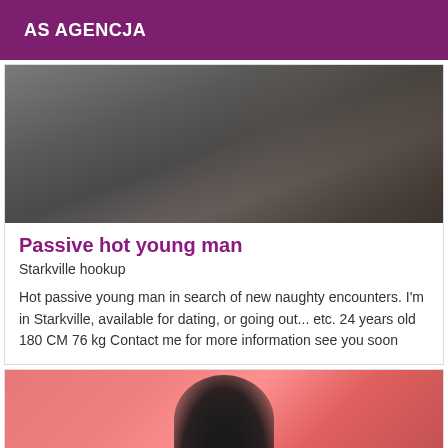AS AGENCJA
[Figure (photo): Close-up photo of rumpled grey/dark bedsheets]
Passive hot young man
Starkville hookup
Hot passive young man in search of new naughty encounters. I'm in Starkville, available for dating, or going out... etc. 24 years old 180 CM 76 kg Contact me for more information see you soon
[Figure (photo): Person with braided hair wearing a tiara, against a pink/red background]